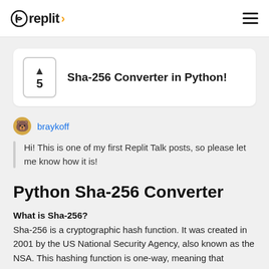replit
Sha-256 Converter in Python!
braykoff
Hi! This is one of my first Replit Talk posts, so please let me know how it is!
Python Sha-256 Converter
What is Sha-256?
Sha-256 is a cryptographic hash function. It was created in 2001 by the US National Security Agency, also known as the NSA. This hashing function is one-way, meaning that